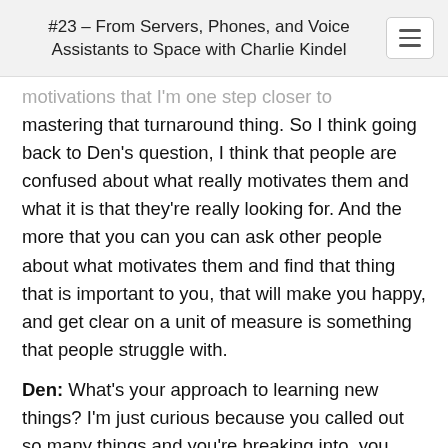#23 – From Servers, Phones, and Voice Assistants to Space with Charlie Kindel
motivations that I'm one step closer to mastering that turnaround thing. So I think going back to Den's question, I think that people are confused about what really motivates them and what it is that they're really looking for. And the more that you can you can ask other people about what motivates them and find that thing that is important to you, that will make you happy, and get clear on a unit of measure is something that people struggle with.
Den: What's your approach to learning new things? I'm just curious because you called out so many things and you're breaking into, you know, trying to change how organizations work,